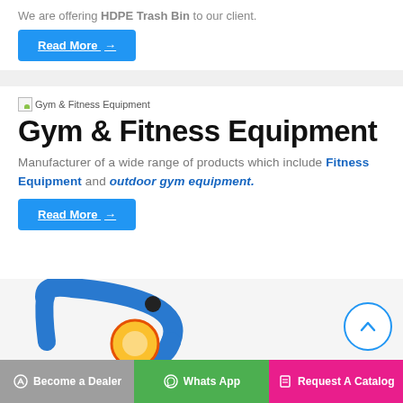We are offering HDPE Trash Bin to our client.
Read More →
[Figure (photo): Gym & Fitness Equipment placeholder image thumbnail]
Gym & Fitness Equipment
Manufacturer of a wide range of products which include Fitness Equipment and outdoor gym equipment.
Read More →
[Figure (photo): Gym equipment photo showing blue and yellow outdoor gym equipment]
Become a Dealer
Whats App
Request A Catalog